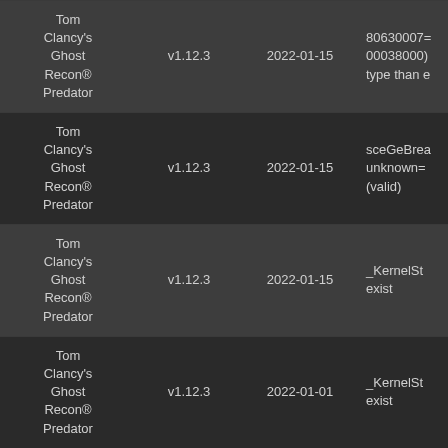| Game | Version | Date | Info |
| --- | --- | --- | --- |
| Tom Clancy's Ghost Recon® Predator | v1.12.3 | 2022-01-15 | 80630007=00038000) type than e |
| Tom Clancy's Ghost Recon® Predator | v1.12.3 | 2022-01-15 | sceGeBrea unknown= (valid) |
| Tom Clancy's Ghost Recon® Predator | v1.12.3 | 2022-01-15 | _KernelSt exist |
| Tom Clancy's Ghost Recon® Predator | v1.12.3 | 2022-01-01 | _KernelSt exist |
| Tom Clancy's Ghost Recon® Predator |  |  |  |